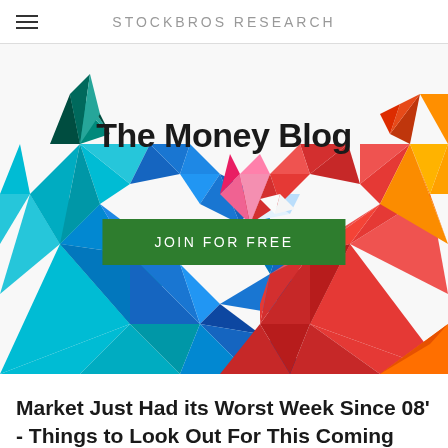STOCKBROS RESEARCH
[Figure (illustration): Low-poly geometric bull (blue/teal) and bear (red/orange) facing each other with 'The Money Blog' title and 'JOIN FOR FREE' green button overlay]
Market Just Had its Worst Week Since 08' - Things to Look Out For This Coming Week